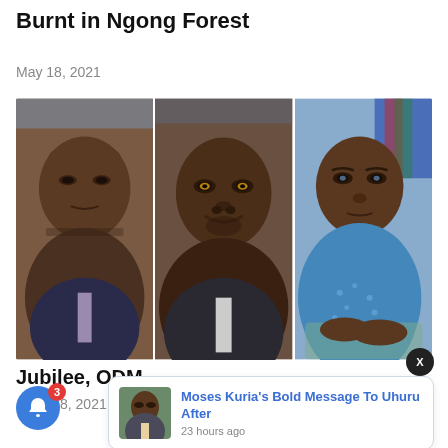Burnt in Ngong Forest
May 18, 2021
[Figure (photo): Collage of three Kenyan politicians: three portrait photos side by side showing close-up faces of William Ruto (left), Raila Odinga (center), and Uhuru Kenyatta (right)]
x
Jubilee, ODM
18, 2021
[Figure (photo): Small thumbnail photo of Moses Kuria in a suit]
Moses Kuria's Bold Message To Uhuru After
23 hours ago